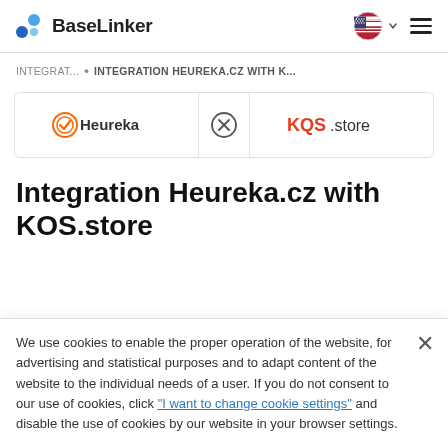BaseLinker
INTEGRAT... • INTEGRATION HEUREKA.CZ WITH K...
[Figure (logo): Integration logos: Heureka logo on the left, a circled X separator in the middle, and KQS.store logo on the right, arranged in a bordered box]
Integration Heureka.cz with KOS.store
We use cookies to enable the proper operation of the website, for advertising and statistical purposes and to adapt content of the website to the individual needs of a user. If you do not consent to our use of cookies, click "I want to change cookie settings" and disable the use of cookies by our website in your browser settings.